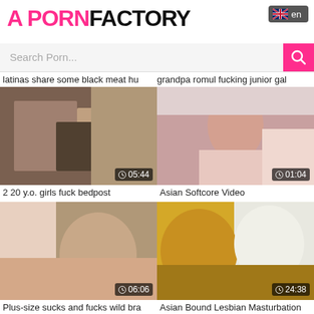A PORNFACTORY
Search Porn...
latinas share some black meat hu  grandpa romul fucking junior gal
[Figure (photo): Video thumbnail: 2 20 y.o. girls fuck bedpost, duration 05:44]
2 20 y.o. girls fuck bedpost
[Figure (photo): Video thumbnail: Asian Softcore Video, duration 01:04]
Asian Softcore Video
[Figure (photo): Video thumbnail: Plus-size sucks and fucks wild bra, duration 06:06]
Plus-size sucks and fucks wild bra
[Figure (photo): Video thumbnail: Asian Bound Lesbian Masturbation, duration 24:38]
Asian Bound Lesbian Masturbation